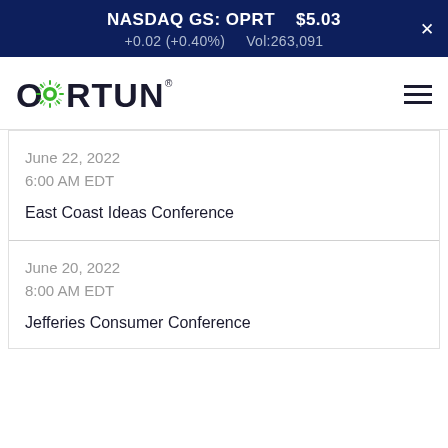NASDAQ GS: OPRT  $5.03  +0.02 (+0.40%)  Vol:263,091
[Figure (logo): Oportun company logo with stylized green sun/circle icon]
June 22, 2022
6:00 AM EDT
East Coast Ideas Conference
June 20, 2022
8:00 AM EDT
Jefferies Consumer Conference